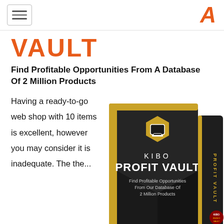≡  A
VAULT
Find Profitable Opportunities From A Database Of 2 Million Products
Having a ready-to-go web shop with 10 items is excellent, however you may consider it is inadequate. The the...
[Figure (photo): Product box for 'KIBO PROFIT VAULT' — a dark box with gold trim, hexagon laptop icon, text: 'KIBO PROFIT VAULT — Find Profitable Opportunities From Our Database Of 2 Million Products']